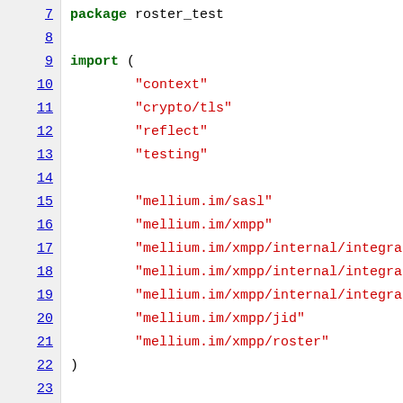[Figure (screenshot): Source code screenshot showing Go programming language code for a test file. Lines 7-28 visible. Package declaration 'roster_test', import block with standard library packages (context, crypto/tls, reflect, testing) and custom packages (mellium.im/sasl, mellium.im/xmpp, mellium.im/xmpp/internal/integratio... x3, mellium.im/xmpp/jid, mellium.im/xmpp/roster), and function TestIntegrationRoster with prosodyRun variable, integration.Log(), prosody.ListenC2S() calls.]